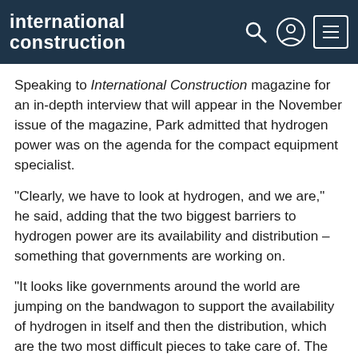international construction
Speaking to International Construction magazine for an in-depth interview that will appear in the November issue of the magazine, Park admitted that hydrogen power was on the agenda for the compact equipment specialist.
“Clearly, we have to look at hydrogen, and we are,” he said, adding that the two biggest barriers to hydrogen power are its availability and distribution – something that governments are working on.
“It looks like governments around the world are jumping on the bandwagon to support the availability of hydrogen in itself and then the distribution, which are the two most difficult pieces to take care of. The rest of the picture, we’re going to have to figure that out.”